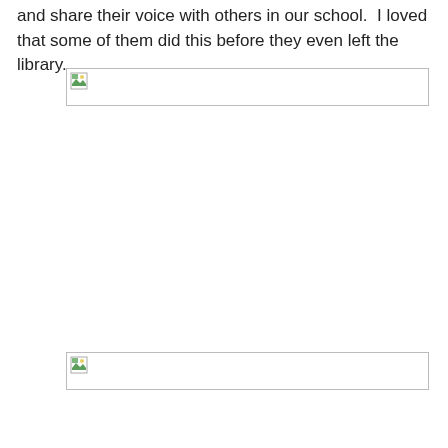and share their voice with others in our school.  I loved that some of them did this before they even left the library.
[Figure (photo): Image placeholder (broken image icon) — wide horizontal image, partially visible at top]
[Figure (photo): Image placeholder (broken image icon) — wide horizontal image near bottom of page]